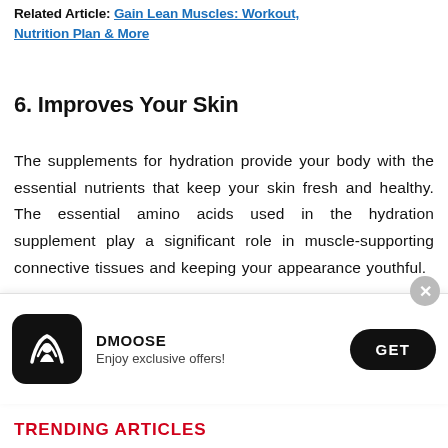Related Article: Gain Lean Muscles: Workout, Nutrition Plan & More
6. Improves Your Skin
The supplements for hydration provide your body with the essential nutrients that keep your skin fresh and healthy. The essential amino acids used in the hydration supplement play a significant role in muscle-supporting connective tissues and keeping your appearance youthful.
If you are convinced of incorporating hydration supplements into your daily routine, you should also
[Figure (infographic): DMoose app promotional banner with logo, brand name DMOOSE, tagline 'Enjoy exclusive offers!', and a GET button]
TRENDING ARTICLES